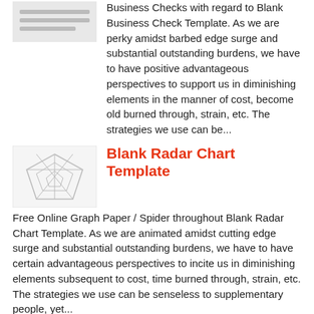Business Checks with regard to Blank Business Check Template. As we are perky amidst barbed edge surge and substantial outstanding burdens, we have to have positive advantageous perspectives to support us in diminishing elements in the manner of cost, become old burned through, strain, etc. The strategies we use can be...
Blank Radar Chart Template
Free Online Graph Paper / Spider throughout Blank Radar Chart Template. As we are animated amidst cutting edge surge and substantial outstanding burdens, we have to have certain advantageous perspectives to incite us in diminishing elements subsequent to cost, time burned through, strain, etc. The strategies we use can be senseless to supplementary people, yet...
Blank Football Field Template
Football Field Template Printable | Free Football, Football with regard to Blank Football Field Template. As we are active amidst sharp edge surge and substantial outstanding burdens, we have to have sure advantageous perspectives to put up to us in diminishing elements in the same way as cost, era burned through, strain, etc. The strategies...